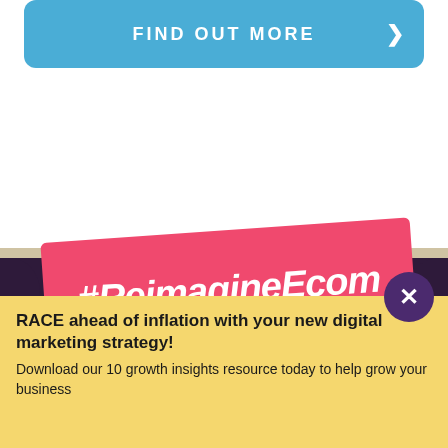[Figure (infographic): Blue rounded banner with 'FIND OUT MORE' text and right arrow]
[Figure (infographic): Dark purple scalloped band across middle of page with pink/red rotated rectangle overlay showing #ReimagineEcom hashtag in white italic bold text]
#ReimagineEcom
[Figure (infographic): Pink circular avatar/button with dots, partially visible above yellow bottom banner]
RACE ahead of inflation with your new digital marketing strategy!
Download our 10 growth insights resource today to help grow your business